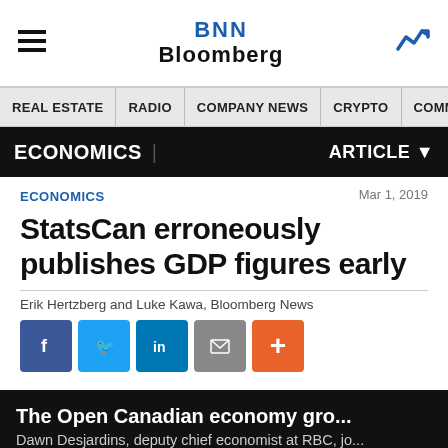BNN Bloomberg
REAL ESTATE | RADIO | COMPANY NEWS | CRYPTO | COMMODITIES | CANN
ECONOMICS | ARTICLE
ECONOMICS
Mar 1, 2019
StatsCan erroneously publishes GDP figures early
Erik Hertzberg and Luke Kawa, Bloomberg News
[Figure (screenshot): Social media share buttons: Facebook, Twitter, LinkedIn, Email, More (+)]
[Figure (screenshot): Video thumbnail with text: The Open Canadian economy gro... Dawn Desjardins, deputy chief economist at RBC, jo...]